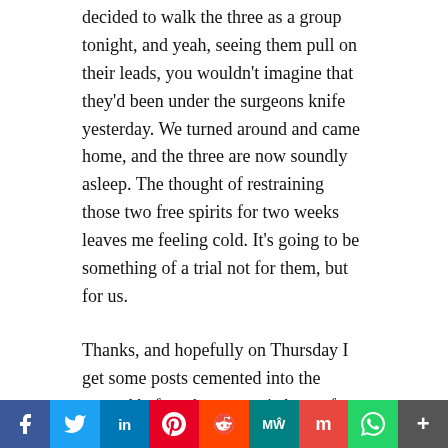decided to walk the three as a group tonight, and yeah, seeing them pull on their leads, you wouldn't imagine that they'd been under the surgeons knife yesterday. We turned around and came home, and the three are now soundly asleep. The thought of restraining those two free spirits for two weeks leaves me feeling cold. It's going to be something of a trial not for them, but for us.
Thanks, and hopefully on Thursday I get some posts cemented into the ground before the next epic bout of rain arrives.
Well, all I can say is a gentle reminder to look after the extra hour, and return it in a few months time in the same condition in which you received it. I hear you about the depressing side of the story
[Figure (infographic): Social media sharing bar with icons: Facebook (blue), Twitter (light blue), LinkedIn (dark blue), Pinterest (red), Reddit (orange-red), MeWe (teal), Mix (red-orange), WhatsApp (green), More (grey)]